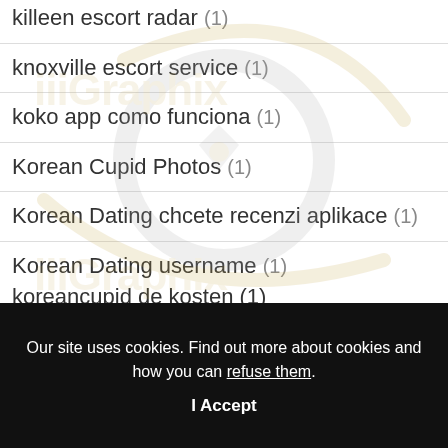killeen escort radar (1)
knoxville escort service (1)
koko app como funciona (1)
Korean Cupid Photos (1)
Korean Dating chcete recenzi aplikace (1)
Korean Dating username (1)
koreancupid de kosten (1)
Our site uses cookies. Find out more about cookies and how you can refuse them.
I Accept